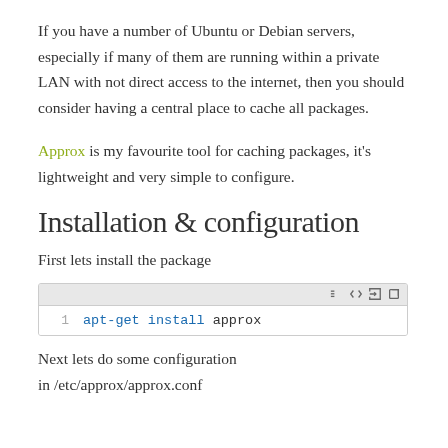If you have a number of Ubuntu or Debian servers, especially if many of them are running within a private LAN with not direct access to the internet, then you should consider having a central place to cache all packages.
Approx is my favourite tool for caching packages, it's lightweight and very simple to configure.
Installation & configuration
First lets install the package
[Figure (screenshot): Code block showing shell command: apt-get install approx, with line number 1 and a toolbar with icons]
Next lets do some configuration in /etc/approx/approx.conf